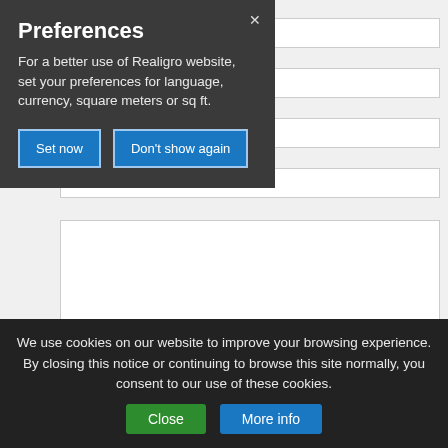[Figure (screenshot): Preferences modal dialog on a form page. The modal has a dark background with title 'Preferences', descriptive text about setting preferences for language, currency, square meters or sq ft, and two blue buttons: 'Set now' and 'Don't show again'. Behind the modal is a web form with input fields and a textarea. At the bottom is a cookie consent banner with 'Close' and 'More info' buttons.]
Preferences
For a better use of Realigro website, set your preferences for language, currency, square meters or sq ft.
I would like to receive updates on similar offers
We use cookies on our website to improve your browsing experience. By closing this notice or continuing to browse this site normally, you consent to our use of these cookies.